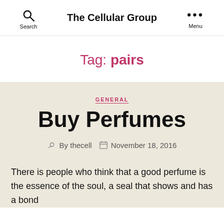The Cellular Group
Tag: pairs
GENERAL
Buy Perfumes
By thecell  November 18, 2016
There is people who think that a good perfume is the essence of the soul, a seal that shows and has a bond